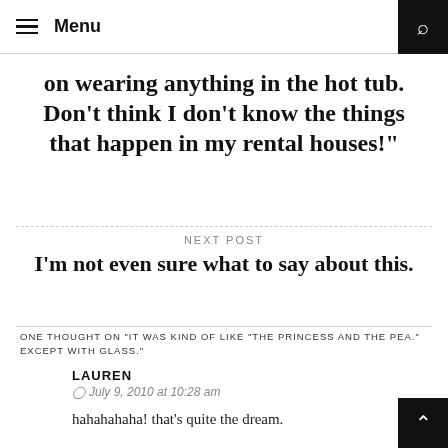Menu
on wearing anything in the hot tub. Don’t think I don’t know the things that happen in my rental houses!”
NEXT POST
I’m not even sure what to say about this.
ONE THOUGHT ON “IT WAS KIND OF LIKE “THE PRINCESS AND THE PEA.” EXCEPT WITH GLASS.”
LAUREN
July 9, 2010 at 10:28 am
hahahahaha! that’s quite the dream.